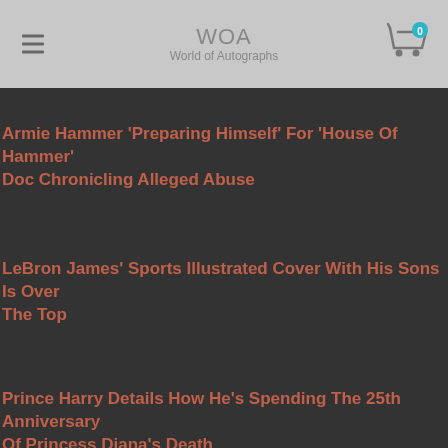WOA World of Autographs
Armie Hammer 'Preparing Himself' For 'House Of Hammer' Doc Chronicling Alleged Abuse
LeBron James' Sports Illustrated Cover With His Sons Is Over The Top
Prince Harry Details How He's Spending The 25th Anniversary Of Princess Diana's Death